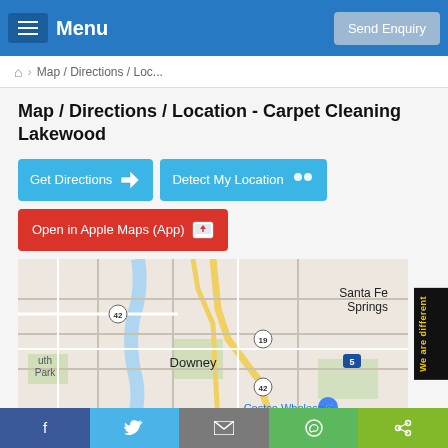Menu | Send Enquiry
Map / Directions / Loc...
Map / Directions / Location - Carpet Cleaning Lakewood
Get Directions
Detect My Location
Open in Apple Maps (App)
[Figure (map): Google Maps view showing Downey, Santa Fe Springs, Costco Wholesale, route 42, route 19, route 5, South Park area]
We are different
Facebook | Twitter | Email | WhatsApp | Share